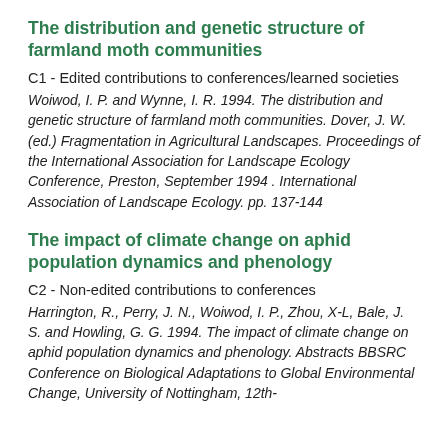The distribution and genetic structure of farmland moth communities
C1 - Edited contributions to conferences/learned societies
Woiwod, I. P. and Wynne, I. R. 1994. The distribution and genetic structure of farmland moth communities. Dover, J. W. (ed.) Fragmentation in Agricultural Landscapes. Proceedings of the International Association for Landscape Ecology Conference, Preston, September 1994 . International Association of Landscape Ecology. pp. 137-144
The impact of climate change on aphid population dynamics and phenology
C2 - Non-edited contributions to conferences
Harrington, R., Perry, J. N., Woiwod, I. P., Zhou, X-L, Bale, J. S. and Howling, G. G. 1994. The impact of climate change on aphid population dynamics and phenology. Abstracts BBSRC Conference on Biological Adaptations to Global Environmental Change, University of Nottingham, 12th-